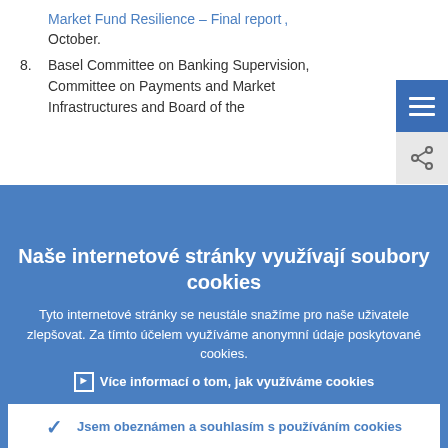Market Fund Resilience – Final report, October.
8. Basel Committee on Banking Supervision, Committee on Payments and Market Infrastructures and Board of the
Naše internetové stránky využívají soubory cookies
Tyto internetové stránky se neustále snažíme pro naše uživatele zlepšovat. Za tímto účelem využíváme anonymní údaje poskytované cookies.
► Více informací o tom, jak využíváme cookies
✓ Jsem obeznámen a souhlasím s používáním cookies
✗ Nesouhlasím s používáním cookies.